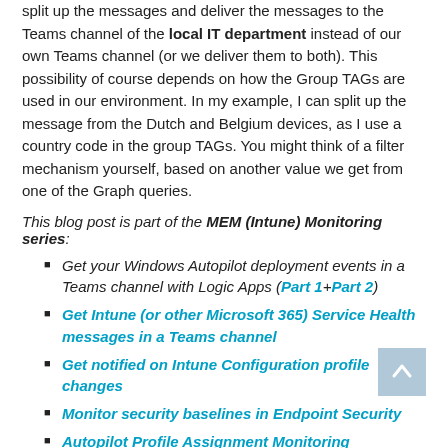split up the messages and deliver the messages to the Teams channel of the local IT department instead of our own Teams channel (or we deliver them to both). This possibility of course depends on how the Group TAGs are used in our environment. In my example, I can split up the message from the Dutch and Belgium devices, as I use a country code in the group TAGs. You might think of a filter mechanism yourself, based on another value we get from one of the Graph queries.
This blog post is part of the MEM (Intune) Monitoring series:
Get your Windows Autopilot deployment events in a Teams channel with Logic Apps (Part 1+Part 2)
Get Intune (or other Microsoft 365) Service Health messages in a Teams channel
Get notified on Intune Configuration profile changes
Monitor security baselines in Endpoint Security
Autopilot Profile Assignment Monitoring
Let's see how we can expand the Logic App, which we created